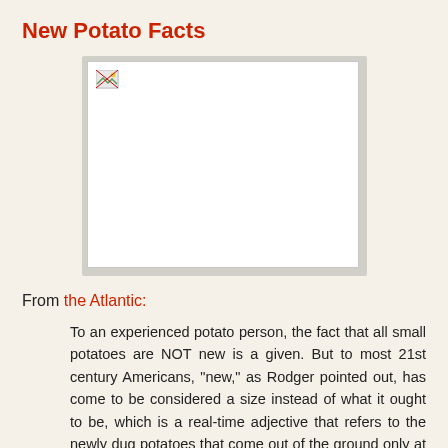New Potato Facts
[Figure (photo): A broken/missing image placeholder showing a small image icon in the top-left corner of a white box]
From the Atlantic:
To an experienced potato person, the fact that all small potatoes are NOT new is a given. But to most 21st century Americans, "new," as Rodger pointed out, has come to be considered a size instead of what it ought to be, which is a real-time adjective that refers to the newly dug potatoes that come out of the ground only at the